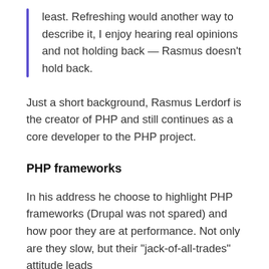least. Refreshing would another way to describe it, I enjoy hearing real opinions and not holding back — Rasmus doesn't hold back.
Just a short background, Rasmus Lerdorf is the creator of PHP and still continues as a core developer to the PHP project.
PHP frameworks
In his address he choose to highlight PHP frameworks (Drupal was not spared) and how poor they are at performance. Not only are they slow, but their "jack-of-all-trades" attitude leads